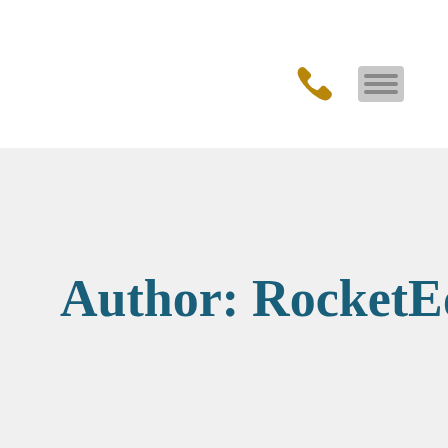[Figure (illustration): Gold/amber phone handset icon and a grey document/menu icon in the upper right area of the page]
Author: RocketEditor